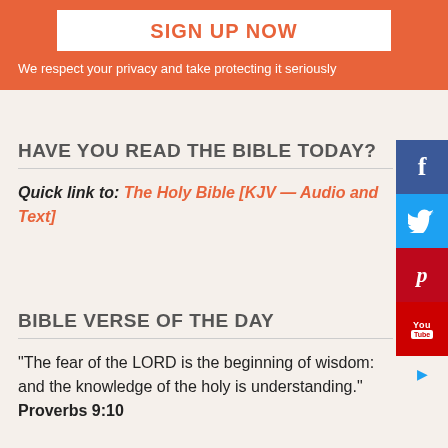SIGN UP NOW
We respect your privacy and take protecting it seriously
HAVE YOU READ THE BIBLE TODAY?
Quick link to: The Holy Bible [KJV — Audio and Text]
BIBLE VERSE OF THE DAY
"The fear of the LORD is the beginning of wisdom: and the knowledge of the holy is understanding." Proverbs 9:10